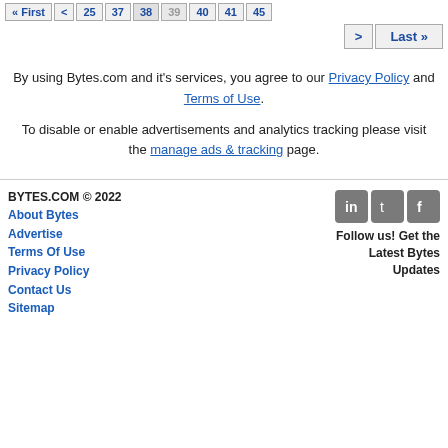« First < 25 37 38 39 40 41 45 > Last »
By using Bytes.com and it's services, you agree to our Privacy Policy and Terms of Use.

To disable or enable advertisements and analytics tracking please visit the manage ads & tracking page.
BYTES.COM © 2022
About Bytes
Advertise
Terms Of Use
Privacy Policy
Contact Us
Sitemap
Follow us! Get the Latest Bytes Updates